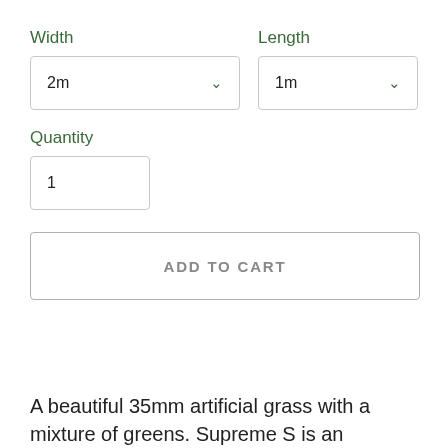Width
Length
2m
1m
Quantity
1
ADD TO CART
A beautiful 35mm artificial grass with a mixture of greens. Supreme S is an